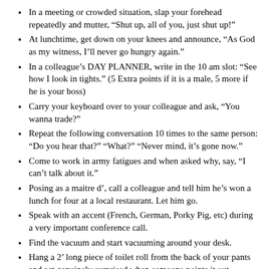In a meeting or crowded situation, slap your forehead repeatedly and mutter, “Shut up, all of you, just shut up!”
At lunchtime, get down on your knees and announce, “As God as my witness, I’ll never go hungry again.”
In a colleague’s DAY PLANNER, write in the 10 am slot: “See how I look in tights.” (5 Extra points if it is a male, 5 more if he is your boss)
Carry your keyboard over to your colleague and ask, “You wanna trade?”
Repeat the following conversation 10 times to the same person: “Do you hear that?” “What?” “Never mind, it’s gone now.”
Come to work in army fatigues and when asked why, say, “I can’t talk about it.”
Posing as a maitre d’, call a colleague and tell him he’s won a lunch for four at a local restaurant. Let him go.
Speak with an accent (French, German, Porky Pig, etc) during a very important conference call.
Find the vacuum and start vacuuming around your desk.
Hang a 2’ long piece of toilet roll from the back of your pants and act genuinely surprised when someone points it out.
Present meeting attendees with a cup of coffee and biscuits, smashing each biscuit with your fist.
During the course of a meeting, slowly edge your chair